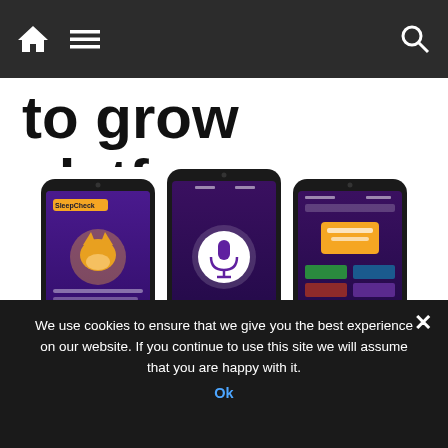Navigation bar with home, menu, and search icons
to grow platform
[Figure (screenshot): Three smartphone screens showing the SleepCheck app interface: home screen with logo and sleeping fox illustration, microphone recording screen, and results/report screen]
ResApp to launch SleepCheck, an at-
We use cookies to ensure that we give you the best experience on our website. If you continue to use this site we will assume that you are happy with it.
Ok